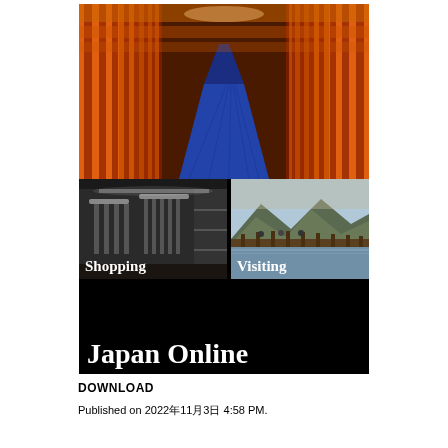[Figure (illustration): Cover image for 'Japan Online' featuring: top half shows a long tunnel of red torii gates receding into the distance with a blue stone path, with the title 'Japan Online' overlaid on a black banner. Bottom section shows two smaller photos side by side: left is a shopping store interior labeled 'Shopping', right is a riverside scene with a bridge labeled 'Visiting'. The overall background below the photos is black.]
DOWNLOAD
Published on 2022年11月3日 4:58 PM.